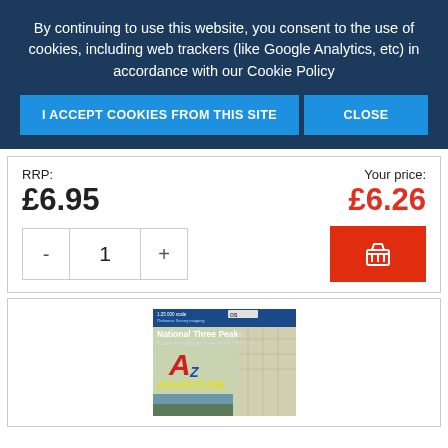By continuing to use this website, you consent to the use of cookies, including web trackers (like Google Analytics, etc) in accordance with our Cookie Policy
I ACCEPT COOKIES FROM THIS SITE
CLOSE
RRP:
£6.95
Your price:
£6.26
- 1 +
[Figure (other): A-Z Adventure National Three Peaks map book cover with red A-Z logo and landscape imagery]